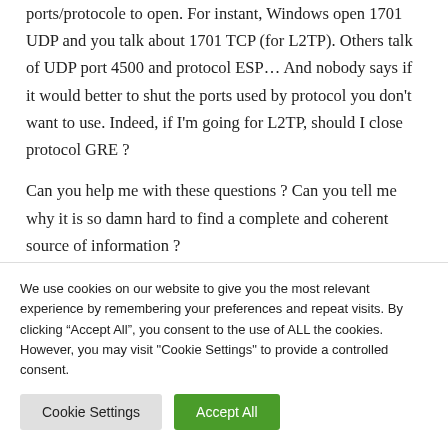ports/protocole to open. For instant, Windows open 1701 UDP and you talk about 1701 TCP (for L2TP). Others talk of UDP port 4500 and protocol ESP... And nobody says if it would better to shut the ports used by protocol you don't want to use. Indeed, if I'm going for L2TP, should I close protocol GRE ?

Can you help me with these questions ? Can you tell me why it is so damn hard to find a complete and coherent source of information ?
We use cookies on our website to give you the most relevant experience by remembering your preferences and repeat visits. By clicking “Accept All”, you consent to the use of ALL the cookies. However, you may visit "Cookie Settings" to provide a controlled consent.